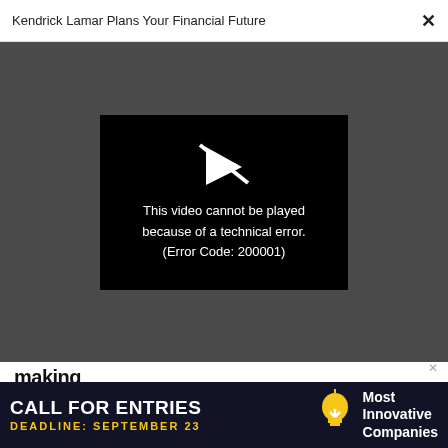Kendrick Lamar Plans Your Financial Future
[Figure (screenshot): Video player showing error message: 'This video cannot be played because of a technical error. (Error Code: 200001)' on black background with broken play icon, set against dark gray background.]
making
WORK LIFE
Intelligence is overrated. Here's how to really spot someone who can succeed
[Figure (infographic): Advertisement banner: CALL FOR ENTRIES, DEADLINE: SEPTEMBER 23, Most Innovative Companies, with light bulb icon, dark navy background.]